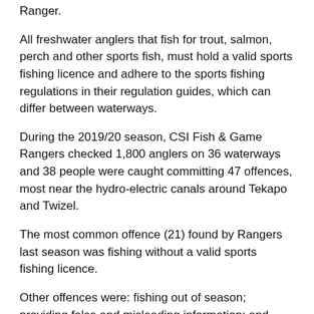Ranger.
All freshwater anglers that fish for trout, salmon, perch and other sports fish, must hold a valid sports fishing licence and adhere to the sports fishing regulations in their regulation guides, which can differ between waterways.
During the 2019/20 season, CSI Fish & Game Rangers checked 1,800 anglers on 36 waterways and 38 people were caught committing 47 offences, most near the hydro-electric canals around Tekapo and Twizel.
The most common offence (21) found by Rangers last season was fishing without a valid sports fishing licence.
Other offences were: fishing out of season; providing false and misleading information; and using more than one fishing rod.
Rarer offences included: submitting fraudulent documents; being more than 15m from rod; using more than one bait assembly and using berley to attract fish.
To note: five offences were processed by the...